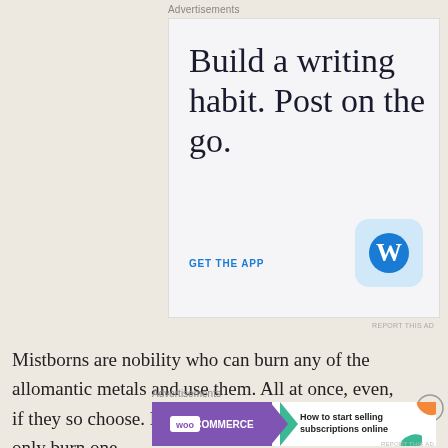Advertisements
[Figure (screenshot): WordPress mobile app advertisement with headline 'Build a writing habit. Post on the go.' and 'GET THE APP' call to action with WordPress logo]
REPORT THIS AD
Mistborns are nobility who can burn any of the allomantic metals and use them. All at once, even, if they so choose. Mistings, on the other hand, can only burn one
Advertisements
[Figure (screenshot): WooCommerce advertisement: 'How to start selling subscriptions online']
REPORT THIS AD